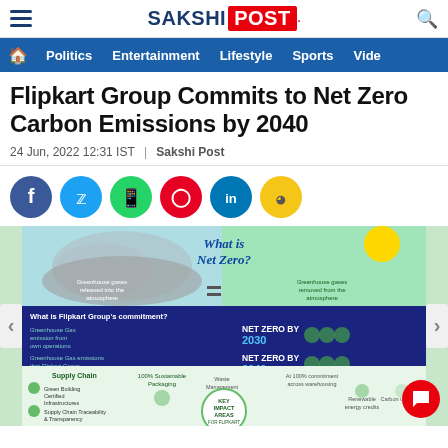SAKSHI POST
Politics | Entertainment | Lifestyle | Sports | Vide
Flipkart Group Commits to Net Zero Carbon Emissions by 2040
24 Jun, 2022 12:31 IST | Sakshi Post
[Figure (infographic): Infographic about 'What is Net Zero?' with sections about Flipkart Group's commitment to Net Zero by 2030 and 2040, showing greenhouse gas emissions, supply chain, key impact areas for Flipkart Group including sustainable packaging, waste management, renewable energy credits, carbon offsetting.]